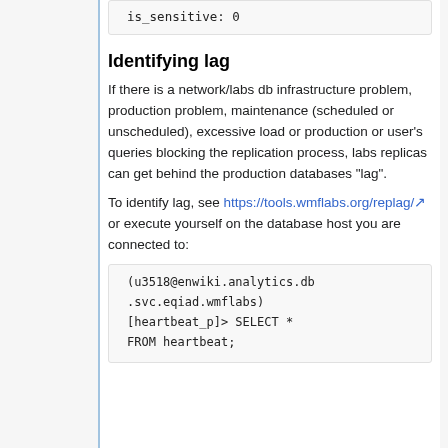is_sensitive: 0
Identifying lag
If there is a network/labs db infrastructure problem, production problem, maintenance (scheduled or unscheduled), excessive load or production or user's queries blocking the replication process, labs replicas can get behind the production databases "lag".
To identify lag, see https://tools.wmflabs.org/replag/ or execute yourself on the database host you are connected to:
(u3518@enwiki.analytics.db.svc.eqiad.wmflabs)[heartbeat_p]> SELECT * FROM heartbeat;